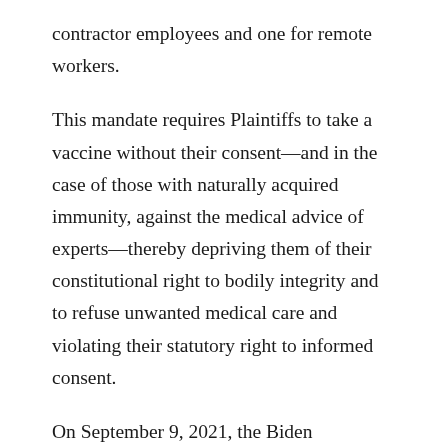contractor employees and one for remote workers.
This mandate requires Plaintiffs to take a vaccine without their consent—and in the case of those with naturally acquired immunity, against the medical advice of experts—thereby depriving them of their constitutional right to bodily integrity and to refuse unwanted medical care and violating their statutory right to informed consent.
On September 9, 2021, the Biden Administration announced several new administrative actions aimed at coercing a total of 100 million Americans to receive a COVID-19 vaccine. In addition to private employer, healthcare facility, and federal employee mandates, the announcement covered those working for federal contractors. The federal contractor mandate has been